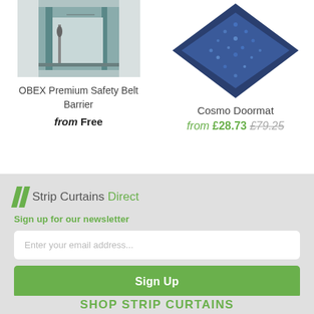[Figure (photo): Photo of OBEX Premium Safety Belt Barrier in an office/corridor setting]
OBEX Premium Safety Belt Barrier
from Free
[Figure (photo): Photo of Cosmo Doormat, a blue rectangular doormat with dark border]
Cosmo Doormat
from £28.73 £79.25
[Figure (logo): Strip Curtains Direct logo with green slash marks]
Sign up for our newsletter
Enter your email address...
Sign Up
SHOP STRIP CURTAINS